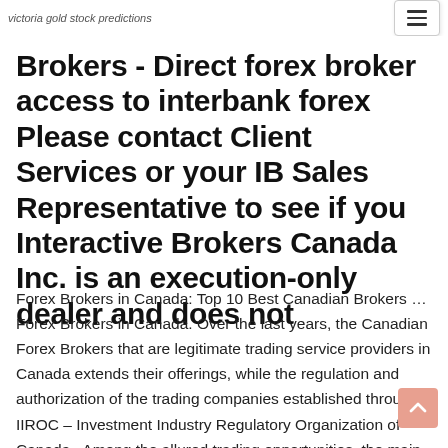victoria gold stock predictions
Brokers - Direct forex broker access to interbank forex Please contact Client Services or your IB Sales Representative to see if you Interactive Brokers Canada Inc. is an execution-only dealer and does not
Forex Brokers in Canada: Top 10 Best Canadian Brokers ... Forex Brokers in Canada. Over the last years, the Canadian Forex Brokers that are legitimate trading service providers in Canada extends their offerings, while the regulation and authorization of the trading companies established through IIROC – Investment Industry Regulatory Organization of Canada.. Among the allured trading opportunities, the main concern is a safe trading environment and Top 10 Canadian